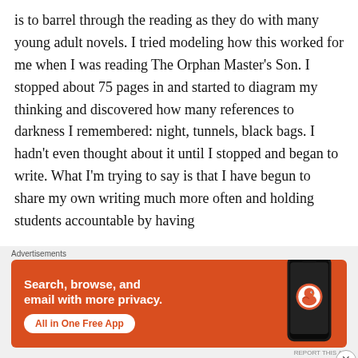is to barrel through the reading as they do with many young adult novels. I tried modeling how this worked for me when I was reading The Orphan Master’s Son. I stopped about 75 pages in and started to diagram my thinking and discovered how many references to darkness I remembered: night, tunnels, black bags. I hadn’t even thought about it until I stopped and began to write. What I’m trying to say is that I have begun to share my own writing much more often and holding students accountable by having
[Figure (other): DuckDuckGo advertisement banner with orange background. Text reads: Search, browse, and email with more privacy. All in One Free App. Shows a smartphone with DuckDuckGo logo and wordmark.]